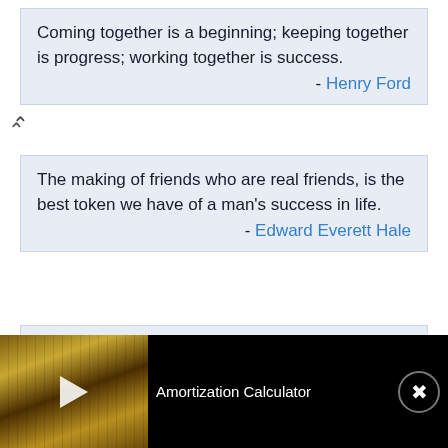Coming together is a beginning; keeping together is progress; working together is success.
- Henry Ford
The making of friends who are real friends, is the best token we have of a man's success in life.
- Edward Everett Hale
I went through a period of first successes. Then there was the inevitable change: the bad newspaper articles. Some people don't care
[Figure (screenshot): Video bar overlay for Amortization Calculator with thumbnail showing calculator and financial documents, play button, title text, and close button]